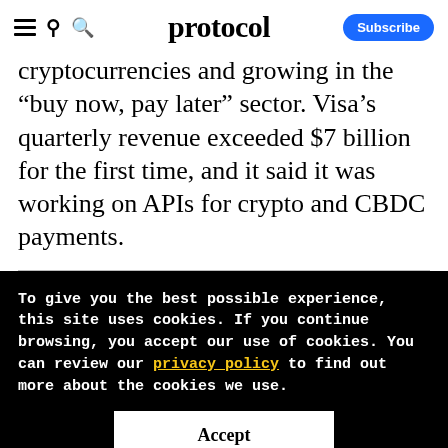protocol
cryptocurrencies and growing in the “buy now, pay later” sector. Visa’s quarterly revenue exceeded $7 billion for the first time, and it said it was working on APIs for crypto and CBDC payments.
To give you the best possible experience, this site uses cookies. If you continue browsing, you accept our use of cookies. You can review our privacy policy to find out more about the cookies we use.
Accept